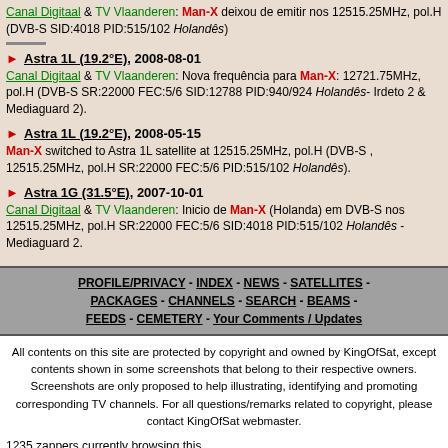Canal Digitaal & TV Vlaanderen: Man-X deixou de emitir nos 12515.25MHz, pol.H (DVB-S SID:4018 PID:515/102 Holandês)
Astra 1L (19.2°E), 2008-08-01 — Canal Digitaal & TV Vlaanderen: Nova frequência para Man-X: 12721.75MHz, pol.H (DVB-S SR:22000 FEC:5/6 SID:12788 PID:940/924 Holandês- Irdeto 2 & Mediaguard 2).
Astra 1L (19.2°E), 2008-05-15 — Man-X switched to Astra 1L satellite at 12515.25MHz, pol.H (DVB-S , 12515.25MHz, pol.H SR:22000 FEC:5/6 PID:515/102 Holandês).
Astra 1G (31.5°E), 2007-10-01 — Canal Digitaal & TV Vlaanderen: Inicio de Man-X (Holanda) em DVB-S nos 12515.25MHz, pol.H SR:22000 FEC:5/6 SID:4018 PID:515/102 Holandês - Mediaguard 2.
PROFILE/PRIVACY - INDEX - NEWS - SATELLITES - PACKAGES - CHANNELS - SEARCH - BEAMS - FEEDS - CEMETERY - Your Comments / Updates
All contents on this site are protected by copyright and owned by KingOfSat, except contents shown in some screenshots that belong to their respective owners. Screenshots are only proposed to help illustrating, identifying and promoting corresponding TV channels. For all questions/remarks related to copyright, please contact KingOfSat webmaster.
1235 zappers currently browsing this site.
Copyright KingOfSat 2022